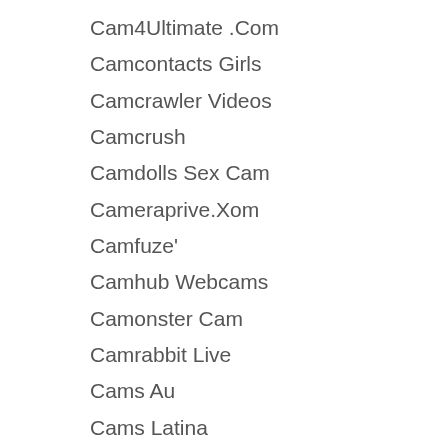Cam4Ultimate .Com
Camcontacts Girls
Camcrawler Videos
Camcrush
Camdolls Sex Cam
Cameraprive.Xom
Camfuze'
Camhub Webcams
Camonster Cam
Camrabbit Live
Cams Au
Cams Latina
Camster Females
Camster'
Camsterr